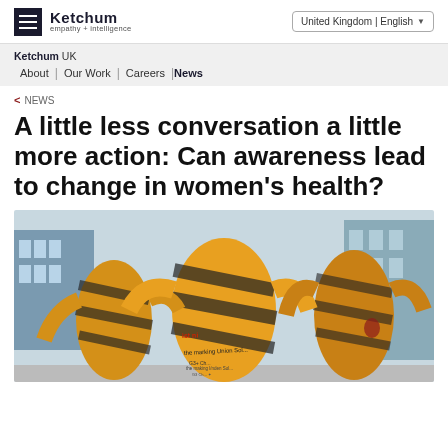Ketchum empathy + intelligence | United Kingdom | English
Ketchum UK — About | Our Work | Careers | News
< NEWS
A little less conversation a little more action: Can awareness lead to change in women's health?
[Figure (photo): Protest photo showing women with painted bodies and text, dressed in yellow caution-tape-style wrapping with writings on their bodies, standing in a crowd in front of buildings.]